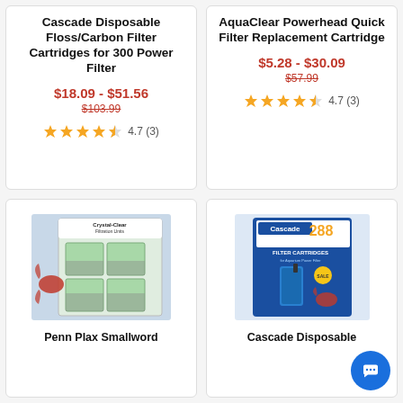Cascade Disposable Floss/Carbon Filter Cartridges for 300 Power Filter
$18.09 - $51.56
$103.99
4.7 (3)
AquaClear Powerhead Quick Filter Replacement Cartridge
$5.28 - $30.09
$57.99
4.7 (3)
[Figure (photo): Penn Plax Crystal-Clear Filtration Units product package showing filter cartridges and a betta fish]
Penn Plax Smallword
[Figure (photo): Cascade 288 Filter Cartridges product package showing a blue aquarium filter]
Cascade Disposable